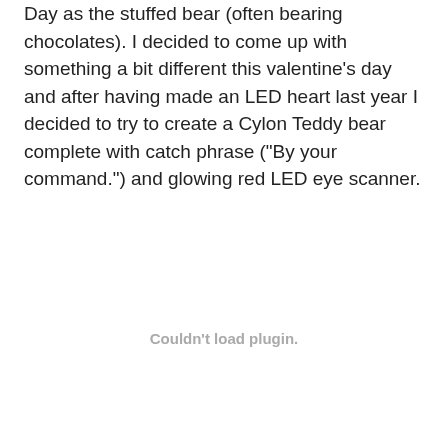Day as the stuffed bear (often bearing chocolates). I decided to come up with something a bit different this valentine's day and after having made an LED heart last year I decided to try to create a Cylon Teddy bear complete with catch phrase ("By your command.") and glowing red LED eye scanner.
Couldn't load plugin.